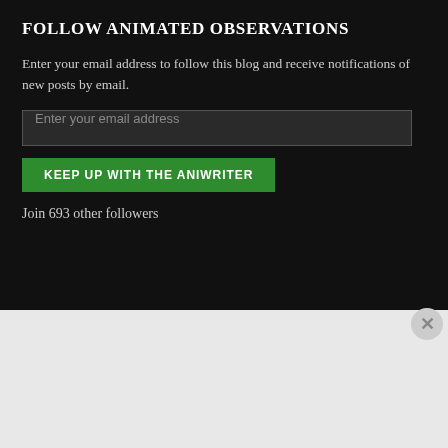FOLLOW ANIMATED OBSERVATIONS
Enter your email address to follow this blog and receive notifications of new posts by email.
Enter your email address
KEEP UP WITH THE ANIWRITER
Join 693 other followers
MY WRITING BLOG, SOLIDLY LIQUID
Advertisements
[Figure (screenshot): DuckDuckGo advertisement: orange background with smartphone showing DuckDuckGo logo. Text reads 'Search, browse, and email with more privacy. All in One Free App'. DuckDuckGo brand name shown below phone.]